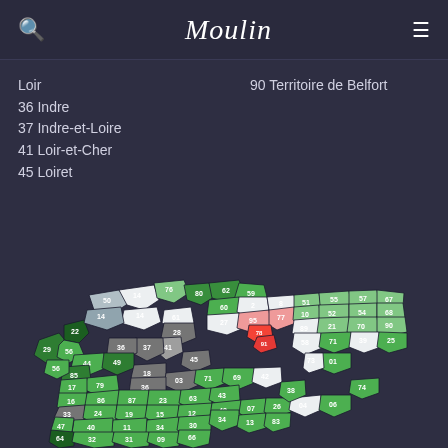Moulin
Loir
36 Indre
37 Indre-et-Loire
41 Loir-et-Cher
45 Loiret
90 Territoire de Belfort
[Figure (map): Choropleth map of France showing departments numbered and colored by category. Green departments include 1, 3, 17, 18, 22, 23, 25, 29, 35, 44, 49, 51, 52, 53, 54, 55, 57, 59, 62, 63, 67, 68, 69, 70, 71, 72, 73, 74, 79, 80, 85, 86, 87. Light/white departments include 2, 8, 10, 14, 19, 36, 50, 61, 89. Dark green departments include 60, 76. Gray departments include 28, 37, 41. Red/orange highlighted departments include 75, 77, 78, 91, 92, 93, 94, 95. Dark/olive departments include various others.]